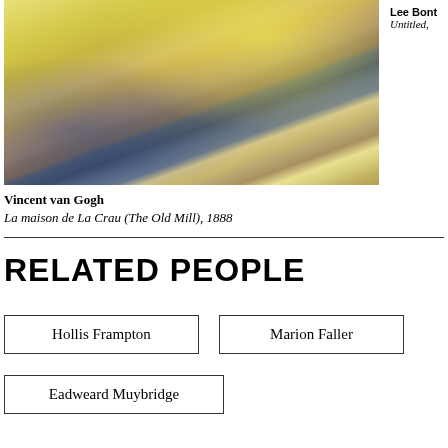[Figure (photo): Cropped painting detail showing Van Gogh's La maison de La Crau (The Old Mill), 1888 — upper portion with yellow swirling sky and blue-green landscape elements]
Lee Bont
Untitled,
Vincent van Gogh
La maison de La Crau (The Old Mill), 1888
RELATED PEOPLE
Hollis Frampton
Marion Faller
Eadweard Muybridge